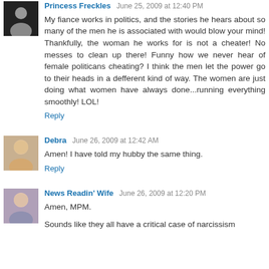Princess Freckles June 25, 2009 at 12:40 PM
My fiance works in politics, and the stories he hears about so many of the men he is associated with would blow your mind! Thankfully, the woman he works for is not a cheater! No messes to clean up there! Funny how we never hear of female politicans cheating? I think the men let the power go to their heads in a defferent kind of way. The women are just doing what women have always done...running everything smoothly! LOL!
Reply
Debra June 26, 2009 at 12:42 AM
Amen! I have told my hubby the same thing.
Reply
News Readin' Wife June 26, 2009 at 12:20 PM
Amen, MPM.
Sounds like they all have a critical case of narcissism